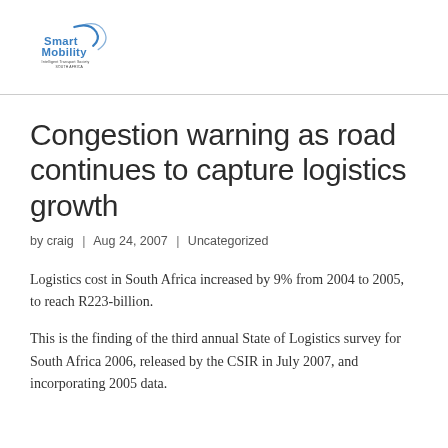Smart Mobility – Intelligent Transport Society South Africa (logo)
Congestion warning as road continues to capture logistics growth
by craig | Aug 24, 2007 | Uncategorized
Logistics cost in South Africa increased by 9% from 2004 to 2005, to reach R223-billion.
This is the finding of the third annual State of Logistics survey for South Africa 2006, released by the CSIR in July 2007, and incorporating 2005 data.